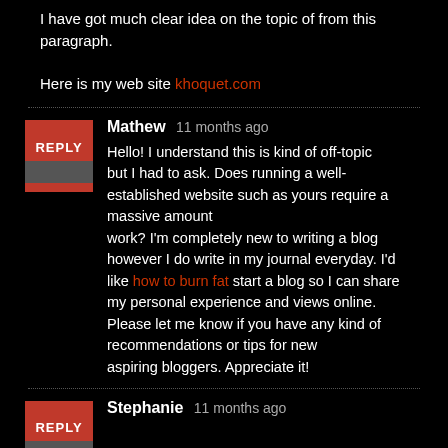I have got much clear idea on the topic of from this paragraph.

Here is my web site khoquet.com
Mathew 11 months ago
Hello! I understand this is kind of off-topic but I had to ask. Does running a well-established website such as yours require a massive amount work? I'm completely new to writing a blog however I do write in my journal everyday. I'd like how to burn fat start a blog so I can share my personal experience and views online. Please let me know if you have any kind of recommendations or tips for new aspiring bloggers. Appreciate it!
Stephanie 11 months ago